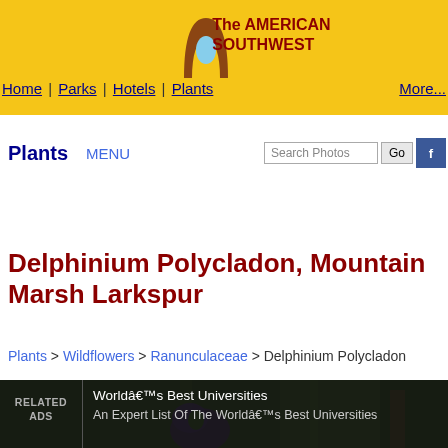The AMERICAN SOUTHWEST
Home | Parks | Hotels | Plants | More...
Plants   MENU
Delphinium Polycladon, Mountain Marsh Larkspur
Plants > Wildflowers > Ranunculaceae > Delphinium Polycladon
[Figure (photo): Close-up photo of a purple Delphinium Polycladon (Mountain Marsh Larkspur) flower against green foliage]
RELATED ADS   Worldâ€™s Best Universities   An Expert List Of The Worldâ€™s Best Universities